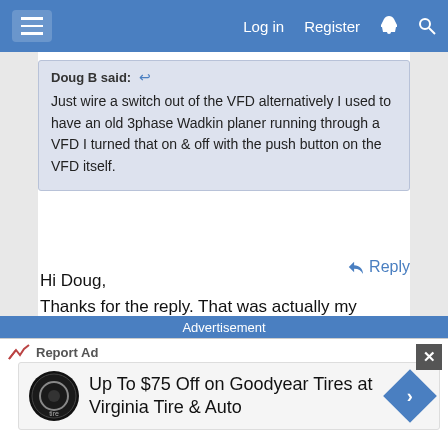Log in  Register
Doug B said. Just wire a switch out of the VFD alternatively I used to have an old 3phase Wadkin planer running through a VFD I turned that on & off with the push button on the VFD itself.
Hi Doug,
Thanks for the reply. That was actually my question. What kind of switch should I get to wire into vfd?
I'm self confessed clueless when it comes to this stuff...
Reply
Advertisement
Report Ad  Up To $75 Off on Goodyear Tires at Virginia Tire & Auto